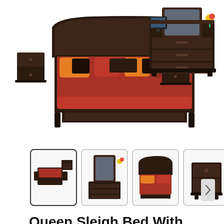[Figure (photo): Product photo of a dark espresso Queen Sleigh Bedroom Set including queen bed with curved headboard and footboard, two nightstands, a dresser with mirror, displayed against a white background.]
[Figure (photo): Row of four product thumbnail images: (1) full bedroom set view - active/selected, (2) dresser with mirror closeup, (3) queen sleigh bed closeup, (4) nightstand closeup. A right-arrow navigation button appears after the last thumbnail.]
Queen Sleigh Bed With Mirrored Dresser and 2